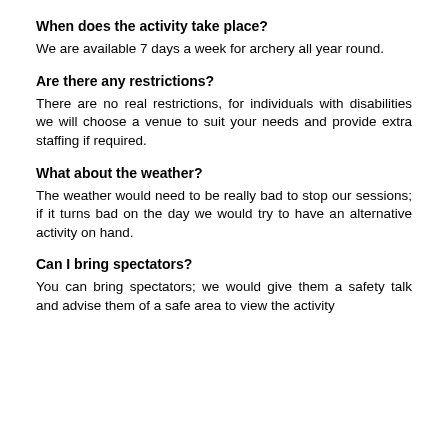When does the activity take place?
We are available 7 days a week for archery all year round.
Are there any restrictions?
There are no real restrictions, for individuals with disabilities we will choose a venue to suit your needs and provide extra staffing if required.
What about the weather?
The weather would need to be really bad to stop our sessions; if it turns bad on the day we would try to have an alternative activity on hand.
Can I bring spectators?
You can bring spectators; we would give them a safety talk and advise them of a safe area to view the activity